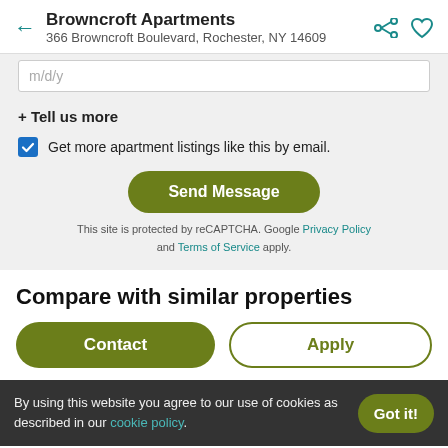Browncroft Apartments
366 Browncroft Boulevard, Rochester, NY 14609
m/d/y
+ Tell us more
Get more apartment listings like this by email.
Send Message
This site is protected by reCAPTCHA. Google Privacy Policy and Terms of Service apply.
Compare with similar properties
Contact
Apply
By using this website you agree to our use of cookies as described in our cookie policy.
Got it!